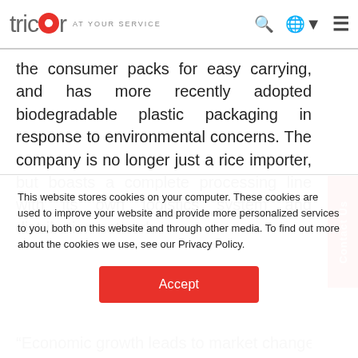tricor AT YOUR SERVICE
the consumer packs for easy carrying, and has more recently adopted biodegradable plastic packaging in response to environmental concerns. The company is no longer just a rice importer, but boasts a complete processing line with its own logistics system and distribution network.
“Economic growth leads to market changes. As package
This website stores cookies on your computer. These cookies are used to improve your website and provide more personalized services to you, both on this website and through other media. To find out more about the cookies we use, see our Privacy Policy.
Accept